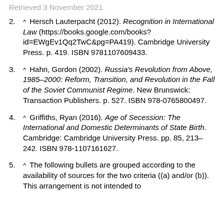Retrieved 3 November 2021.
2. ^ Hersch Lauterpacht (2012). Recognition in International Law (https://books.google.com/books?id=EWgEv1Qq2TwC&pg=PA419). Cambridge University Press. p. 419. ISBN 9781107609433.
3. ^ Hahn, Gordon (2002). Russia's Revolution from Above, 1985–2000: Reform, Transition, and Revolution in the Fall of the Soviet Communist Regime. New Brunswick: Transaction Publishers. p. 527. ISBN 978-0765800497.
4. ^ Griffiths, Ryan (2016). Age of Secession: The International and Domestic Determinants of State Birth. Cambridge: Cambridge University Press. pp. 85, 213–242. ISBN 978-1107161627.
5. ^ The following bullets are grouped according to the availability of sources for the two criteria ((a) and/or (b)). This arrangement is not intended to